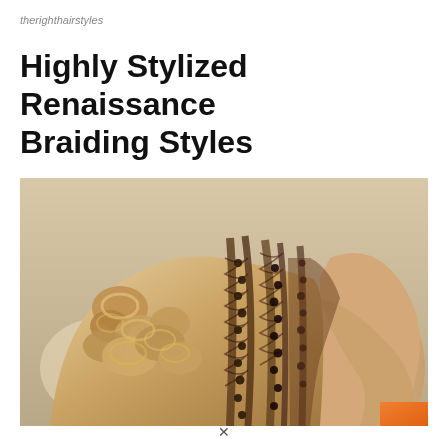therighthairstyles
Highly Stylized Renaissance Braiding Styles
[Figure (photo): Close-up photograph of an elaborate updo hairstyle featuring intricate braids adorned with small beads or pearls, with curled and twisted sections, on a person shown from the side/back. The image has a warm sepia/golden tone.]
×